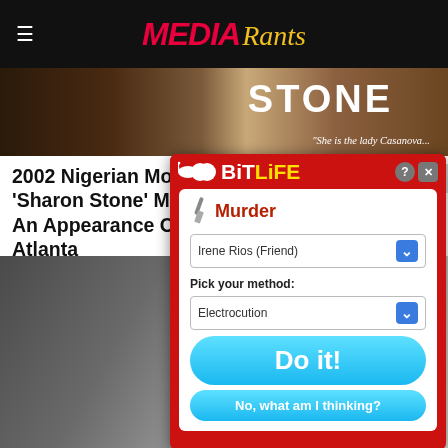MEDIA Rants
[Figure (photo): Hero image showing a movie poster for 'Sharon Stone' with a person's face and the text 'She is the lady Casanova...' visible]
2002 Nigerian Movie ‘Sharon Stone’ Makes An Appearance On FX’s Atlanta
[Figure (screenshot): BitLife mobile game advertisement showing a murder game interface with 'Irene Rios (Friend)' selected as target and 'Electrocution' as method, with 'Do it!' and 'No, what am I thinking?' buttons]
[Figure (photo): Background content image showing a person in wedding/formal attire]